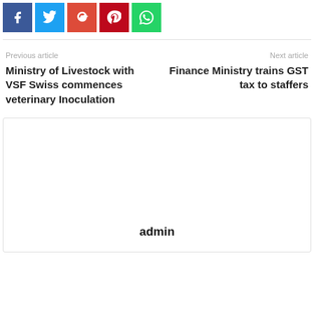[Figure (other): Social sharing buttons: Facebook (blue), Twitter (light blue), Google+ (red), Pinterest (dark red), WhatsApp (green)]
Previous article
Next article
Ministry of Livestock with VSF Swiss commences veterinary Inoculation
Finance Ministry trains GST tax to staffers
admin